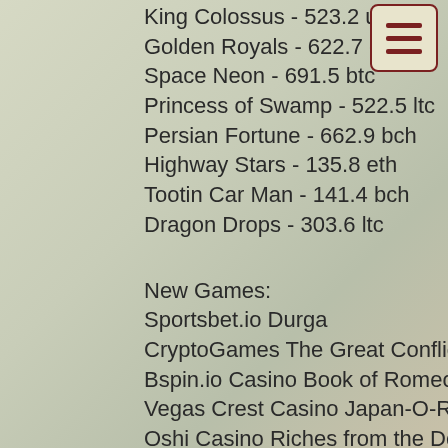King Colossus - 523.2 usdt
Golden Royals - 622.7 dog
Space Neon - 691.5 btc
Princess of Swamp - 522.5 ltc
Persian Fortune - 662.9 bch
Highway Stars - 135.8 eth
Tootin Car Man - 141.4 bch
Dragon Drops - 303.6 ltc
New Games:
Sportsbet.io Durga
CryptoGames The Great Conflict
Bspin.io Casino Book of Romeo and Julia
Vegas Crest Casino Japan-O-Rama
Oshi Casino Riches from the Deep
Cloudbet Casino Twin Spin
Sportsbet.io Chess Royale
mBit Casino Bubble Craze
BetChain Casino Grand Monarch
Bitcasino.io Wild Fire Riches